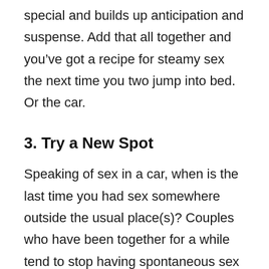special and builds up anticipation and suspense. Add that all together and you've got a recipe for steamy sex the next time you two jump into bed. Or the car.
3. Try a New Spot
Speaking of sex in a car, when is the last time you had sex somewhere outside the usual place(s)? Couples who have been together for a while tend to stop having spontaneous sex in random places. You have a home and a bed. Why would you do